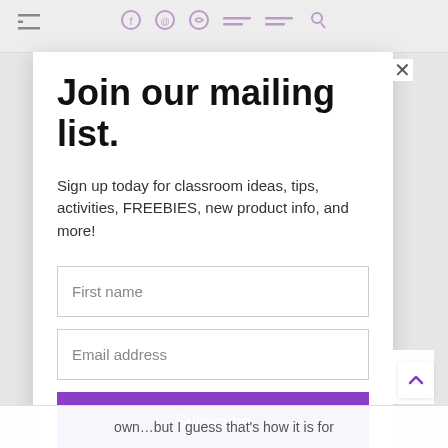Navigation bar with hamburger menu and social/search icons
Join our mailing list.
Sign up today for classroom ideas, tips, activities, FREEBIES, new product info, and more!
First name
Email address
Subscribe
own…but I guess that's how it is for